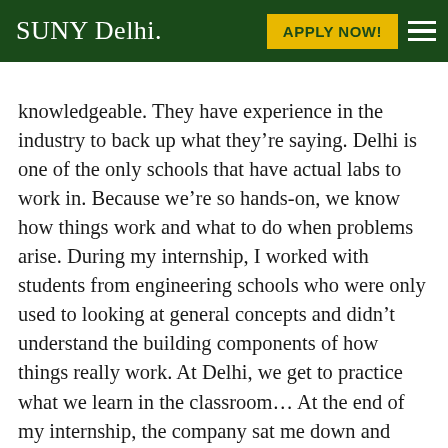SUNY Delhi | APPLY NOW!
knowledgeable. They have experience in the industry to back up what they’re saying. Delhi is one of the only schools that have actual labs to work in. Because we’re so hands-on, we know how things work and what to do when problems arise. During my internship, I worked with students from engineering schools who were only used to looking at general concepts and didn’t understand the building components of how things really work. At Delhi, we get to practice what we learn in the classroom… At the end of my internship, the company sat me down and offered me a salaried position as soon as I graduate from Delhi."